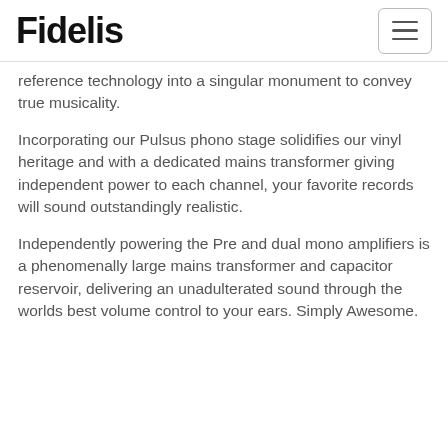Fidelis
reference technology into a singular monument to convey true musicality.
Incorporating our Pulsus phono stage solidifies our vinyl heritage and with a dedicated mains transformer giving independent power to each channel, your favorite records will sound outstandingly realistic.
Independently powering the Pre and dual mono amplifiers is a phenomenally large mains transformer and capacitor reservoir, delivering an unadulterated sound through the worlds best volume control to your ears. Simply Awesome.